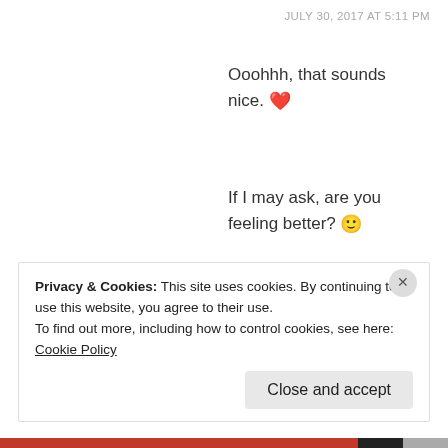JULY 30, 2017 AT 5:11 PM
Ooohhh, that sounds nice. ❤️
If I may ask, are you feeling better? 🙂
★ Liked by 1 person
REPLY
Privacy & Cookies: This site uses cookies. By continuing to use this website, you agree to their use.
To find out more, including how to control cookies, see here: Cookie Policy
Close and accept